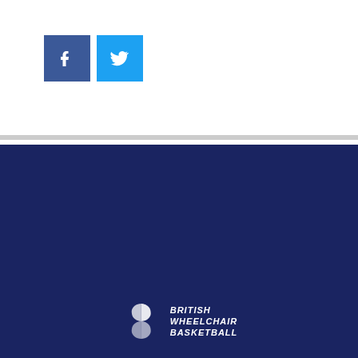[Figure (logo): Facebook and Twitter social media icon buttons]
[Figure (logo): British Wheelchair Basketball logo with white pinwheel icon and bold white text]
[Figure (logo): Sport England logo with white figure icon]
[Figure (logo): The National Lottery logo with hand and stars]
CONTACT US
DATA PRIVACY
TERMS OF USE
COOKIE POLICY